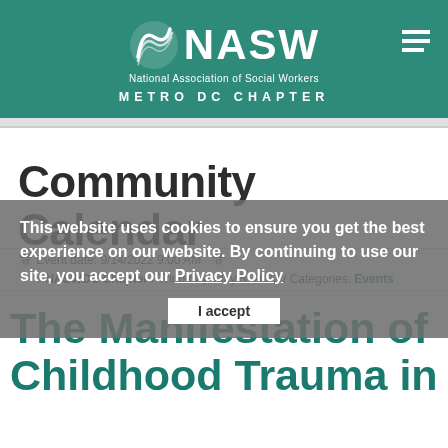[Figure (logo): NASW National Association of Social Workers Metro DC Chapter logo on teal background with hamburger menu icon]
Community Calendar
This website uses cookies to ensure you get the best experience on our website. By continuing to use our site, you accept our Privacy Policy
Event date: 9/14/2022 9:00 AM
NASWDC Chapter / Thursday, May 5, 2022 / Categories: Events
The Manifestation of Childhood Trauma in